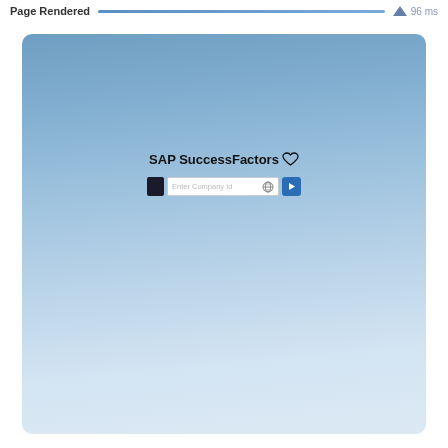Page Rendered   96 ms
[Figure (screenshot): SAP SuccessFactors login page screenshot showing a gradient blue background with the SAP SuccessFactors logo (with heart icon) and a company ID input field with a globe icon and blue arrow submit button]